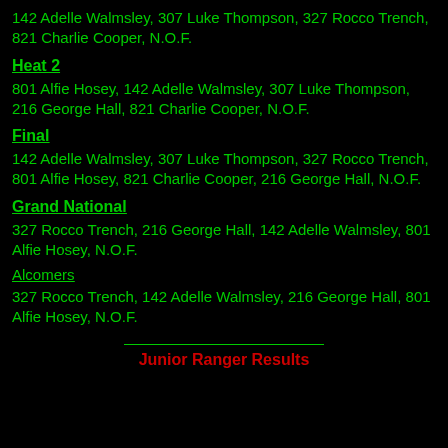142 Adelle Walmsley, 307 Luke Thompson, 327 Rocco Trench, 821 Charlie Cooper, N.O.F.
Heat 2
801 Alfie Hosey, 142 Adelle Walmsley, 307 Luke Thompson, 216 George Hall, 821 Charlie Cooper, N.O.F.
Final
142 Adelle Walmsley, 307 Luke Thompson, 327 Rocco Trench, 801 Alfie Hosey, 821 Charlie Cooper, 216 George Hall, N.O.F.
Grand National
327 Rocco Trench, 216 George Hall, 142 Adelle Walmsley, 801 Alfie Hosey, N.O.F.
Alcomers
327 Rocco Trench, 142 Adelle Walmsley, 216 George Hall, 801 Alfie Hosey, N.O.F.
Junior Ranger Results